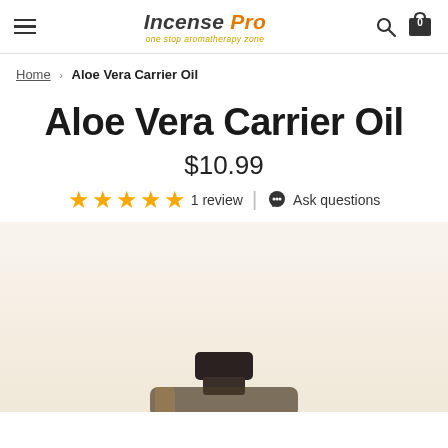Incense Pro — one stop aromatherapy zone
Home › Aloe Vera Carrier Oil
Aloe Vera Carrier Oil
$10.99
★★★★★ 1 review | Ask questions
[Figure (photo): Amber glass bottle of Aloe Vera Carrier Oil with black cap, partially visible at bottom of page]